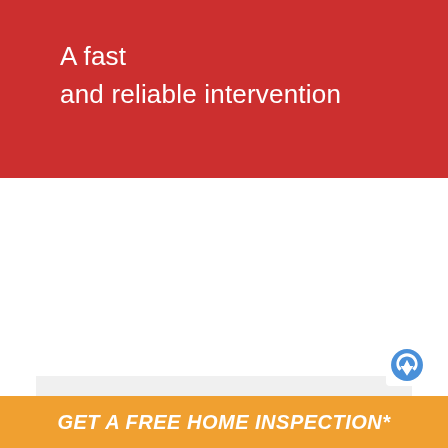A fast and reliable intervention
Availability
24 hours a day
7 days a week and even public holidays and Sundays
GET A FREE HOME INSPECTION*